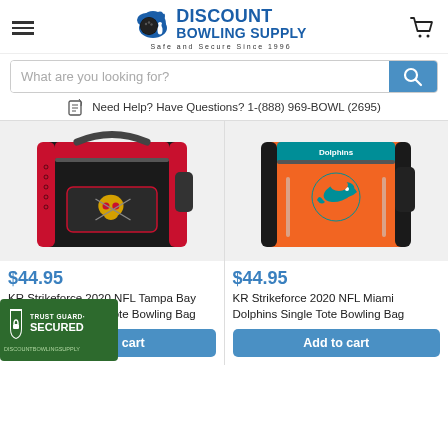Discount Bowling Supply — Safe and Secure Since 1996
What are you looking for?
Need Help? Have Questions? 1-(888) 969-BOWL (2695)
[Figure (photo): KR Strikeforce 2020 NFL Tampa Bay Buccaneers Single Tote Bowling Bag — black bag with red accents and Buccaneers skull logo]
$44.95
KR Strikeforce 2020 NFL Tampa Bay Buccaneers Single Tote Bowling Bag
Add to cart
[Figure (photo): KR Strikeforce 2020 NFL Miami Dolphins Single Tote Bowling Bag — orange bag with teal/black accents and Dolphins logo]
$44.95
KR Strikeforce 2020 NFL Miami Dolphins Single Tote Bowling Bag
Add to cart
[Figure (logo): Trust Guard Secured badge — green shield with lock icon, text TRUST GUARD SECURED DISCOUNTBOWLINGSUPPLY]